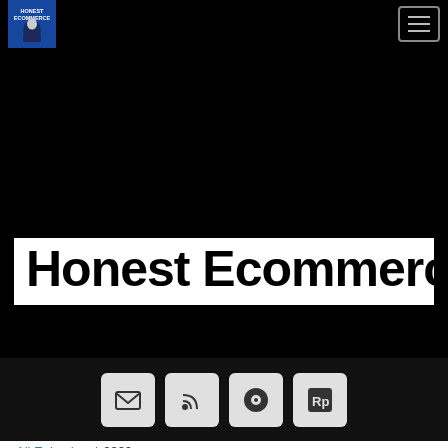Honest Ecommerce
Honest Ecommerce
[Figure (other): Social links bar with email, RSS, podcast platform, and Rp icons]
All Episodes / 2020